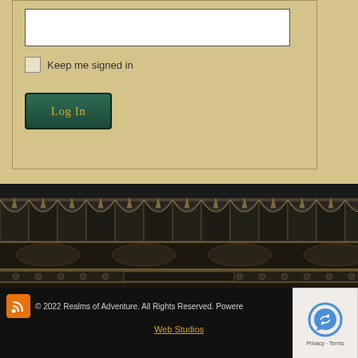[Figure (screenshot): Login form with text input field, 'Keep me signed in' checkbox, and green 'Log In' button on tan/beige background]
Keep me signed in
Log In
[Figure (illustration): Decorative dark ornamental border with gothic/medieval metalwork design featuring scalloped arches, riveted bar, and scrollwork]
© 2022 Realms of Adventure. All Rights Reserved. Powered Web Studios
[Figure (logo): RSS feed orange icon]
[Figure (other): Google reCAPTCHA widget showing robot icon with Privacy and Terms links]